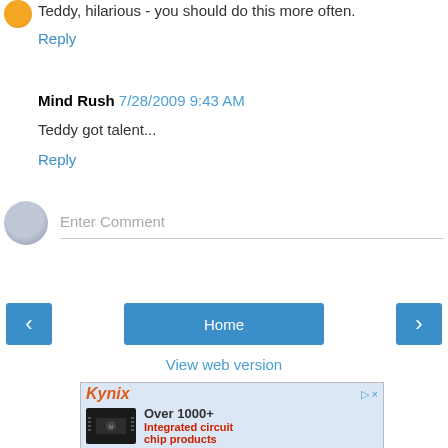Teddy, hilarious - you should do this more often.
Reply
Mind Rush  7/28/2009 9:43 AM
Teddy got talent...
Reply
Enter Comment
Home
View web version
[Figure (screenshot): Kynix advertisement banner showing 'Over 1000+ Integrated circuit chip products' with a microchip image]